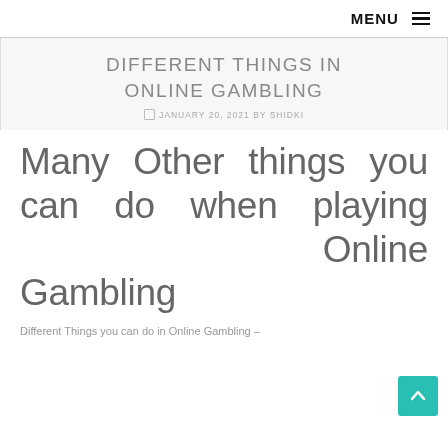MENU ☰
DIFFERENT THINGS IN ONLINE GAMBLING
📅 JANUARY 20, 2021 BY SHIDKI
Many Other things you can do when playing Online Gambling
Different Things you can do in Online Gambling –